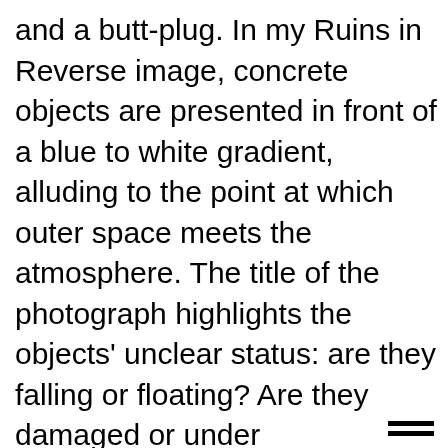and a butt-plug. In my Ruins in Reverse image, concrete objects are presented in front of a blue to white gradient, alluding to the point at which outer space meets the atmosphere. The title of the photograph highlights the objects' unclear status: are they falling or floating? Are they damaged or under construction?
[Figure (other): Hamburger menu icon with two horizontal lines]